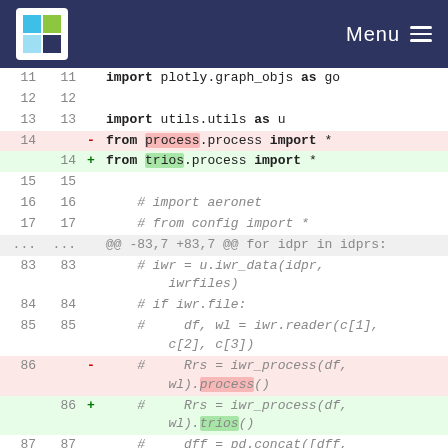Menu
11   11    import plotly.graph_objs as go
12   12
13   13    import utils.utils as u
14         - from process.process import *
     14    + from trios.process import *
15   15
16   16       # import aeronet
17   17       # from config import *
...  ...   @@ -83,7 +83,7 @@ for idpr in idprs:
83   83       # iwr = u.iwr_data(idpr, iwrfiles)
84   84       # if iwr.file:
85   85       #     df, wl = iwr.reader(c[1], c[2], c[3])
86         - #     Rrs = iwr_process(df, wl).process()
     86    + #     Rrs = iwr_process(df, wl).trios()
87   87       #     dff = pd.concat([dff, Rrs], axis=1)